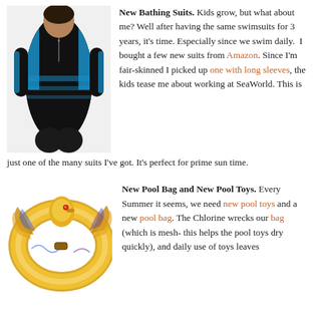[Figure (photo): Woman wearing a black and blue long-sleeve zip-up rash guard swimsuit/wetsuit]
New Bathing Suits. Kids grow, but what about me? Well after having the same swimsuits for 3 years, it's time. Especially since we swim daily. I bought a few new suits from Amazon. Since I'm fair-skinned I picked up one with long sleeves, the kids tease me about working at SeaWorld. This is just one of the many suits I've got. It's perfect for prime sun time.
[Figure (photo): Inflatable golden phoenix/swan pool float toy with blue and purple wing details and red gem accent]
New Pool Bag and New Pool Toys. Every Summer it seems, we need new pool toys and a new pool bag. The Chlorine wrecks our bag (which is mesh- this helps the pool toys dry quickly), and daily use of toys leaves